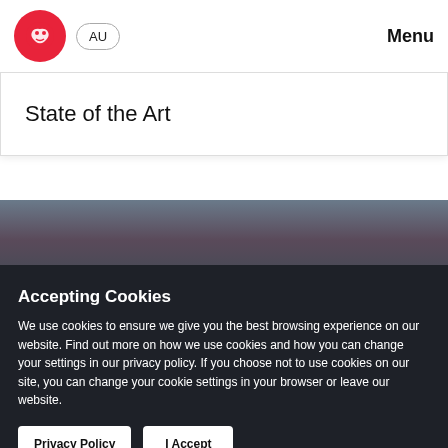AU  Menu
State of the Art
[Figure (photo): Dark moody sky/clouds background image]
Accepting Cookies
We use cookies to ensure we give you the best browsing experience on our website. Find out more on how we use cookies and how you can change your settings in our privacy policy. If you choose not to use cookies on our site, you can change your cookie settings in your browser or leave our website.
Privacy Policy  I Accept